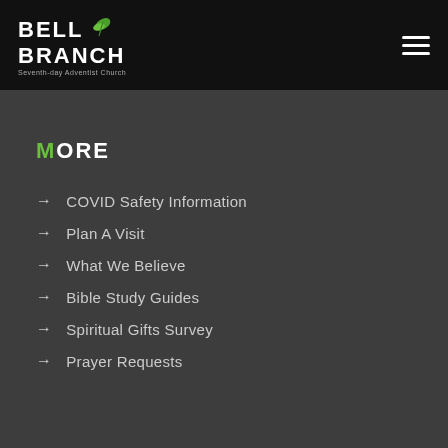Bell Branch Seventh-day Adventist Church
MORE
COVID Safety Information
Plan A Visit
What We Believe
Bible Study Guides
Spiritual Gifts Survey
Prayer Requests